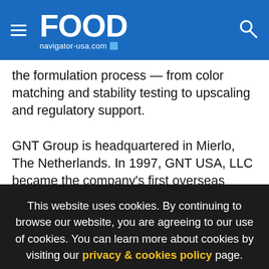FOOD navigator-usa.com
the formulation process — from color matching and stability testing to upscaling and regulatory support.

GNT Group is headquartered in Mierlo, The Netherlands. In 1997, GNT USA, LLC became the company's first overseas sales and application lab affiliate, pioneering the concept of coloring food with food in the US. Today, GNT has global reach with customers in 75 countries and offices in North and South America, Asia, Europe, and the Middle East. EXBERRY® is used by more than 2,000 companies, including the leading
This website uses cookies. By continuing to browse our website, you are agreeing to our use of cookies. You can learn more about cookies by visiting our privacy & cookies policy page.
I Agree